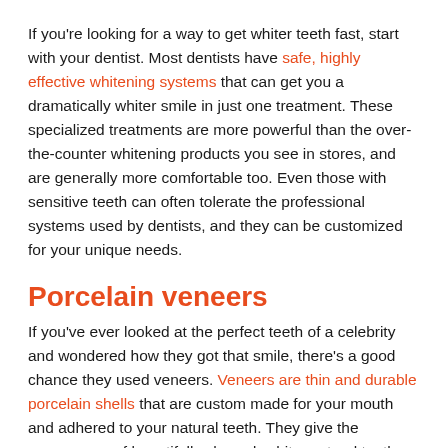If you're looking for a way to get whiter teeth fast, start with your dentist. Most dentists have safe, highly effective whitening systems that can get you a dramatically whiter smile in just one treatment. These specialized treatments are more powerful than the over-the-counter whitening products you see in stores, and are generally more comfortable too. Even those with sensitive teeth can often tolerate the professional systems used by dentists, and they can be customized for your unique needs.
Porcelain veneers
If you've ever looked at the perfect teeth of a celebrity and wondered how they got that smile, there's a good chance they used veneers. Veneers are thin and durable porcelain shells that are custom made for your mouth and adhered to your natural teeth. They give the appearance of beautifully shaped, white, natural teeth and they last for years with proper dental care.